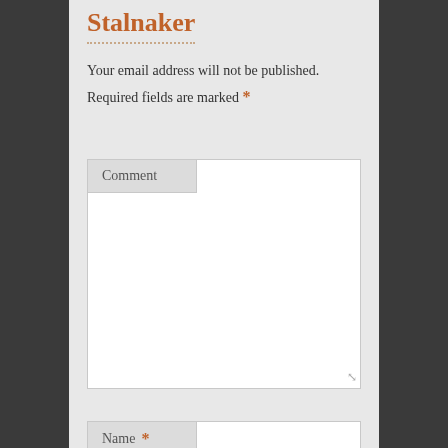Stalnaker
Your email address will not be published.
Required fields are marked *
Comment
Name *